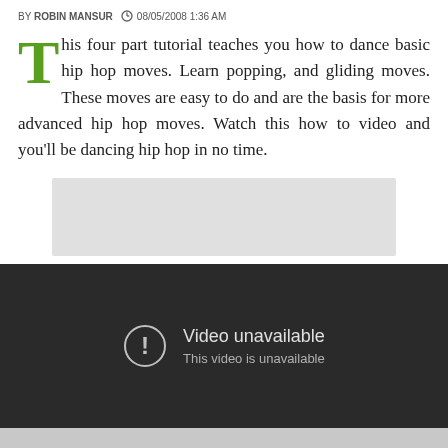BY ROBIN MANSUR  08/05/2008 1:36 AM
This four part tutorial teaches you how to dance basic hip hop moves. Learn popping, and gliding moves. These moves are easy to do and are the basis for more advanced hip hop moves. Watch this how to video and you'll be dancing hip hop in no time.
[Figure (other): Gray advertisement placeholder block]
[Figure (screenshot): Embedded video player showing 'Video unavailable - This video is unavailable' error message on dark background]